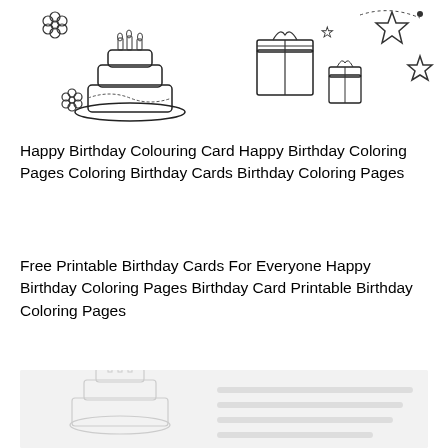[Figure (illustration): Birthday themed coloring page illustration showing a birthday cake with candles, gift boxes, flowers, and stars in black and white outline style]
Happy Birthday Colouring Card Happy Birthday Coloring Pages Coloring Birthday Cards Birthday Coloring Pages
Free Printable Birthday Cards For Everyone Happy Birthday Coloring Pages Birthday Card Printable Birthday Coloring Pages
[Figure (illustration): Another birthday themed coloring page illustration shown partially, light gray outline]